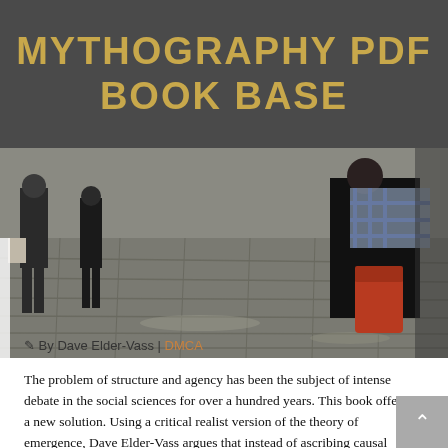MYTHOGRAPHY PDF BOOK BASE
[Figure (photo): A street scene photograph used as the book cover background, showing pedestrians on wet cobblestones. A black label with 'CAMBRIDGE' in white small-caps text overlays the lower-left of the image. A navigation dropdown bar labeled 'Go to..' with a chevron appears over the image.]
✎ By Dave Elder-Vass | DMCA
The problem of structure and agency has been the subject of intense debate in the social sciences for over a hundred years. This book offers a new solution. Using a critical realist version of the theory of emergence, Dave Elder-Vass argues that instead of ascribing causal significance to an abstract notion of social structure or a monolithic concept of society, we must recognise that